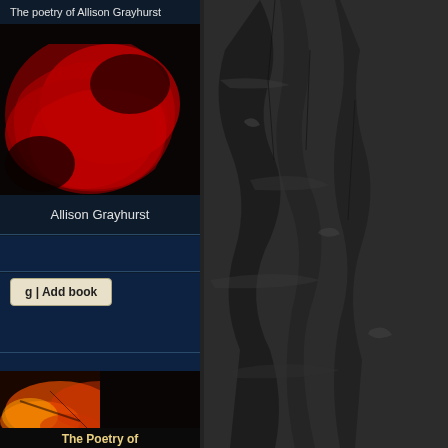The poetry of Allison Grayhurst
[Figure (photo): Book cover with red/dark abstract image]
Allison Grayhurst
g | Add book
[Figure (photo): Second book cover with orange/red lava texture]
The Poetry of
[Figure (photo): Right side dark rocky/stone texture background]